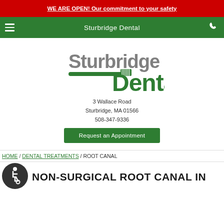WE ARE OPEN! Our commitment to your safety
Sturbridge Dental
[Figure (logo): Sturbridge Dental logo with toothbrush graphic. Gray text 'Sturbridge' above, green toothbrush illustration, green text 'Dental' to the right.]
3 Wallace Road
Sturbridge, MA 01566
508-347-9336
Request an Appointment
HOME / DENTAL TREATMENTS / ROOT CANAL
[Figure (illustration): Wheelchair accessibility icon — white wheelchair symbol on dark gray/black circle background.]
NON-SURGICAL ROOT CANAL IN